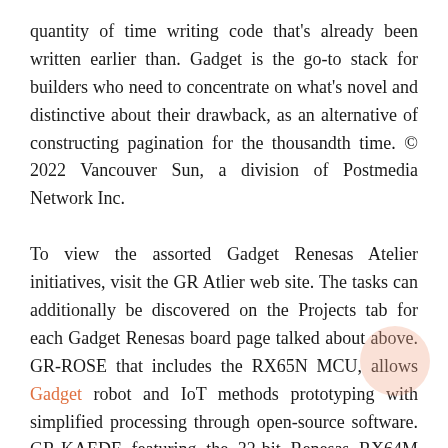quantity of time writing code that's already been written earlier than. Gadget is the go-to stack for builders who need to concentrate on what's novel and distinctive about their drawback, as an alternative of constructing pagination for the thousandth time. © 2022 Vancouver Sun, a division of Postmedia Network Inc.
To view the assorted Gadget Renesas Atelier initiatives, visit the GR Atlier web site. The tasks can additionally be discovered on the Projects tab for each Gadget Renesas board page talked about above. GR-ROSE that includes the RX65N MCU, allows Gadget robot and IoT methods prototyping with simplified processing through open-source software. GR-KAEDE featuring the 32-bit Renesas RX64M MCU, allows you to treat image processing via devoted bus and on-board SDRAM.